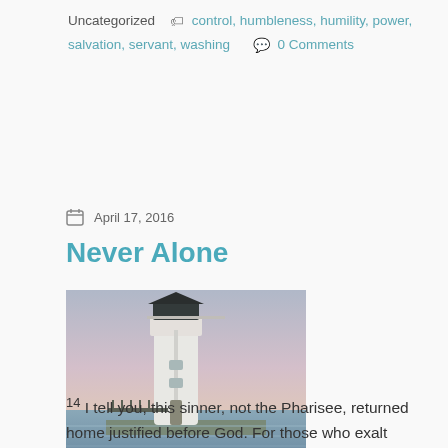Uncategorized  control, humbleness, humility, power, salvation, servant, washing  0 Comments
April 17, 2016
Never Alone
[Figure (photo): A white lighthouse with a dark top against a pink-purple dusk sky, with water visible in the background]
14 I tell you, this sinner, not the Pharisee, returned home justified before God. For those who exalt themselves will be humbled, and those who humble